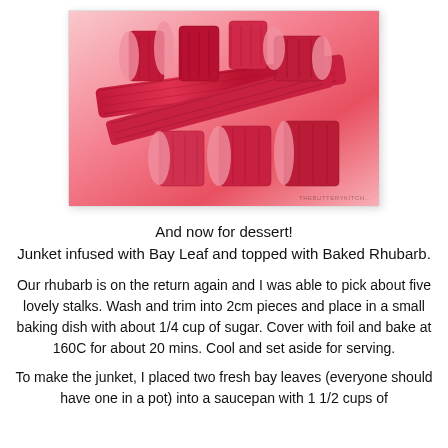[Figure (photo): Photo of cut rhubarb stalks on a pink/red background, showing several pieces of red rhubarb stalks cut into chunks piled together]
And now for dessert!
Junket infused with Bay Leaf and topped with Baked Rhubarb.
Our rhubarb is on the return again and I was able to pick about five lovely stalks. Wash and trim into 2cm pieces and place in a small baking dish with about 1/4 cup of sugar. Cover with foil and bake at 160C for about 20 mins. Cool and set aside for serving.
To make the junket, I placed two fresh bay leaves (everyone should have one in a pot) into a saucepan with 1 1/2 cups of